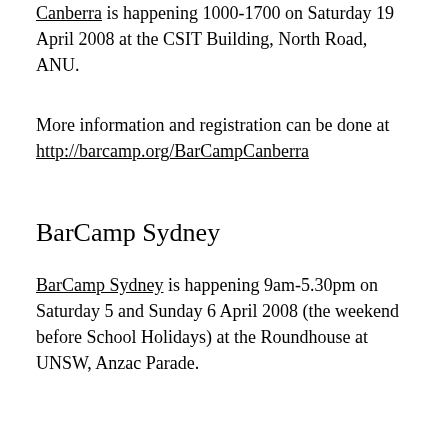Canberra is happening 1000-1700 on Saturday 19 April 2008 at the CSIT Building, North Road, ANU.
More information and registration can be done at http://barcamp.org/BarCampCanberra
BarCamp Sydney
BarCamp Sydney is happening 9am-5.30pm on Saturday 5 and Sunday 6 April 2008 (the weekend before School Holidays) at the Roundhouse at UNSW, Anzac Parade.
More information and registration can be done at http://barcamp.org/BarCampSydney
Canberra Web Standard Group
Canberra Web Standards Group is happening